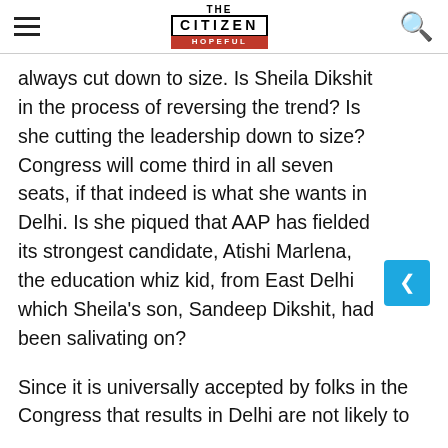THE CITIZEN IS HOPEFUL
always cut down to size. Is Sheila Dikshit in the process of reversing the trend? Is she cutting the leadership down to size? Congress will come third in all seven seats, if that indeed is what she wants in Delhi. Is she piqued that AAP has fielded its strongest candidate, Atishi Marlena, the education whiz kid, from East Delhi which Sheila's son, Sandeep Dikshit, had been salivating on?
Since it is universally accepted by folks in the Congress that results in Delhi are not likely to